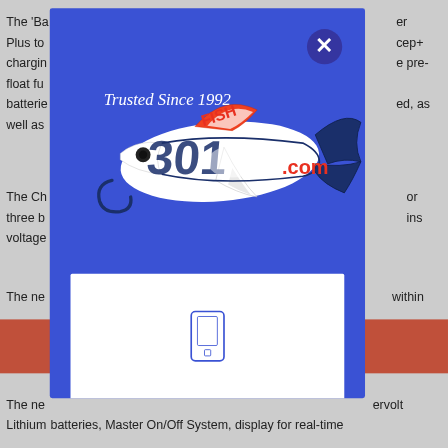The 'Ba... er Plus to... cep+ charging... e pre- float fu... batteries... ed, as well as...
[Figure (logo): Fish307.com logo with a hammerhead shark graphic and text 'Trusted Since 1992' on a blue modal overlay with a close (X) button in the top right corner]
The Ch... or three b... ins voltage...
The ne... within
The ne... ervolt Lithium... batteries, Master On/Off System, display for real-time